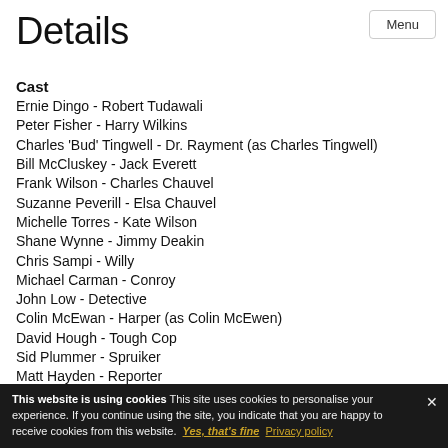Menu
Details
Cast
Ernie Dingo - Robert Tudawali
Peter Fisher - Harry Wilkins
Charles 'Bud' Tingwell - Dr. Rayment (as Charles Tingwell)
Bill McCluskey - Jack Everett
Frank Wilson - Charles Chauvel
Suzanne Peverill - Elsa Chauvel
Michelle Torres - Kate Wilson
Shane Wynne - Jimmy Deakin
Chris Sampi - Willy
Michael Carman - Conroy
John Low - Detective
Colin McEwan - Harper (as Colin McEwen)
David Hough - Tough Cop
Sid Plummer - Spruiker
Matt Hayden - Reporter
Murray Dowsett - Editor
This website is using cookies This site uses cookies to personalise your experience. If you continue using the site, you indicate that you are happy to receive cookies from this website. Yes, that's fine Privacy policy